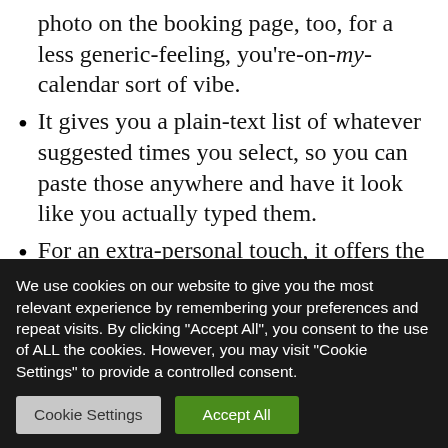photo on the booking page, too, for a less generic-feeling, you're-on-my-calendar sort of vibe.
It gives you a plain-text list of whatever suggested times you select, so you can paste those anywhere and have it look like you actually typed them.
For an extra-personal touch, it offers the option to include an animated GIF of yourself smiling (or doing anything else, really) as part of an invitation.
We use cookies on our website to give you the most relevant experience by remembering your preferences and repeat visits. By clicking "Accept All", you consent to the use of ALL the cookies. However, you may visit "Cookie Settings" to provide a controlled consent.